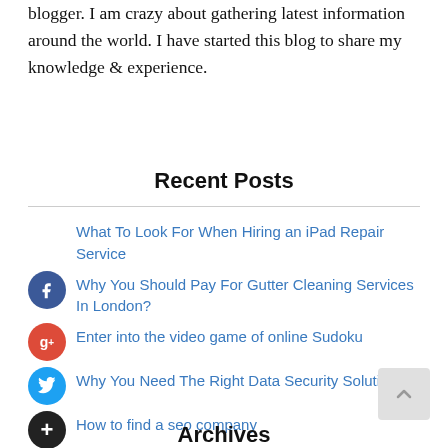blogger. I am crazy about gathering latest information around the world. I have started this blog to share my knowledge & experience.
Recent Posts
What To Look For When Hiring an iPad Repair Service
Why You Should Pay For Gutter Cleaning Services In London?
Enter into the video game of online Sudoku
Why You Need The Right Data Security Solution
How to find a seo company
Archives